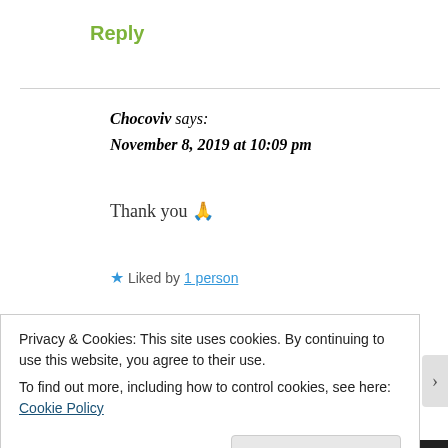Reply
Chocoviv says:
November 8, 2019 at 10:09 pm
Thank you 🙏
★ Liked by 1 person
Reply
Privacy & Cookies: This site uses cookies. By continuing to use this website, you agree to their use.
To find out more, including how to control cookies, see here: Cookie Policy
Close and accept